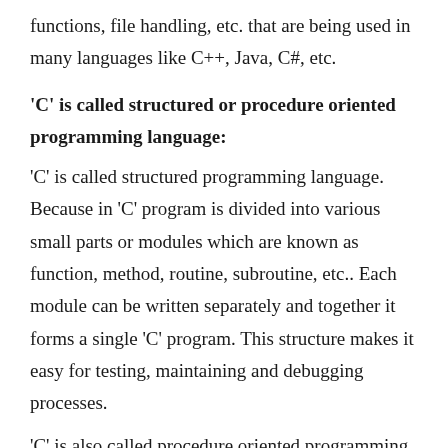functions, file handling, etc. that are being used in many languages like C++, Java, C#, etc.
'C' is called structured or procedure oriented programming language:
'C' is called structured programming language. Because in 'C' program is divided into various small parts or modules which are known as function, method, routine, subroutine, etc.. Each module can be written separately and together it forms a single 'C' program. This structure makes it easy for testing, maintaining and debugging processes.
'C' is also called procedure oriented programming